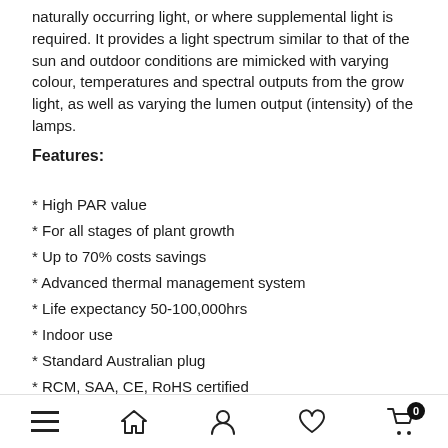naturally occurring light, or where supplemental light is required. It provides a light spectrum similar to that of the sun and outdoor conditions are mimicked with varying colour, temperatures and spectral outputs from the grow light, as well as varying the lumen output (intensity) of the lamps.
Features:
* High PAR value
* For all stages of plant growth
* Up to 70% costs savings
* Advanced thermal management system
* Life expectancy 50-100,000hrs
* Indoor use
* Standard Australian plug
* RCM, SAA, CE, RoHS certified
Specifications:
* LED Quantities: 100pcs 10W LEDs
Navigation bar with menu, home, account, wishlist, cart (0)